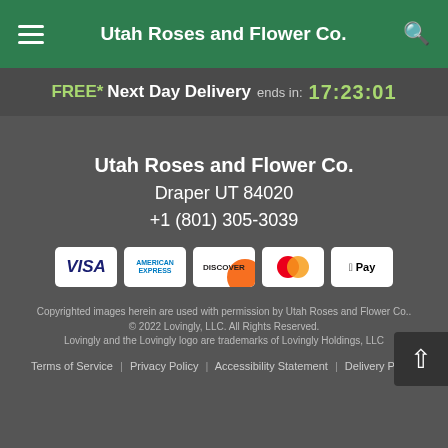Utah Roses and Flower Co.
FREE* Next Day Delivery ends in: 17:23:01
Utah Roses and Flower Co.
Draper UT 84020
+1 (801) 305-3039
[Figure (other): Payment method logos: VISA, American Express, Discover, Mastercard, Apple Pay]
Copyrighted images herein are used with permission by Utah Roses and Flower Co..
© 2022 Lovingly, LLC. All Rights Reserved.
Lovingly and the Lovingly logo are trademarks of Lovingly Holdings, LLC
Terms of Service | Privacy Policy | Accessibility Statement | Delivery Policy